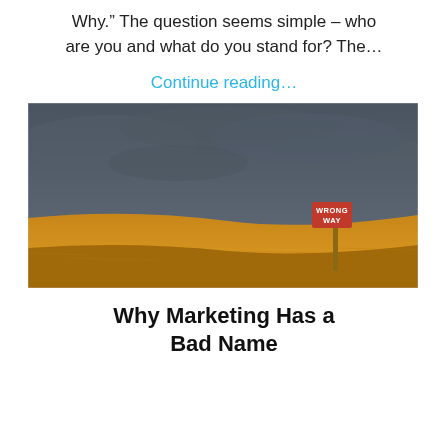Why.” The question seems simple – who are you and what do you stand for? The…
Continue reading…
[Figure (photo): A wide open flat field of golden wheat under a dramatic dark stormy sky. In the right-center of the image stands a red rectangular road sign on a post reading WRONG WAY.]
Why Marketing Has a Bad Name